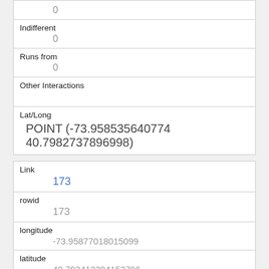| 0 |
| Indifferent | 0 |
| Runs from | 0 |
| Other Interactions |  |
| Lat/Long | POINT (-73.958535640774 40.7982737896998) |
| Link | 173 |
| rowid | 173 |
| longitude | -73.95877018015099 |
| latitude | 40.793412394152796 |
| Unique Squirrel ID | 35D-PM-1013-04 |
| Hectare |  |